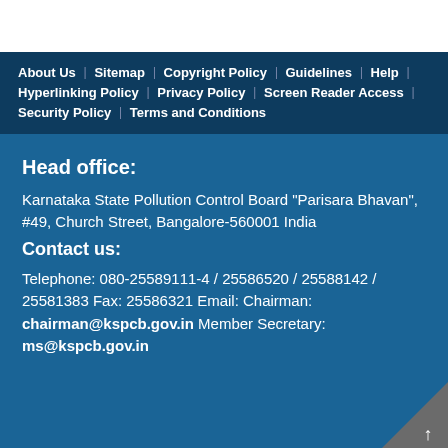About Us | Sitemap | Copyright Policy | Guidelines | Help | Hyperlinking Policy | Privacy Policy | Screen Reader Access | Security Policy | Terms and Conditions
Head office:
Karnataka State Pollution Control Board "Parisara Bhavan", #49, Church Street, Bangalore-560001 India
Contact us:
Telephone: 080-25589111-4 / 25586520 / 25588142 / 25581383 Fax: 25586321 Email: Chairman: chairman@kspcb.gov.in Member Secretary: ms@kspcb.gov.in